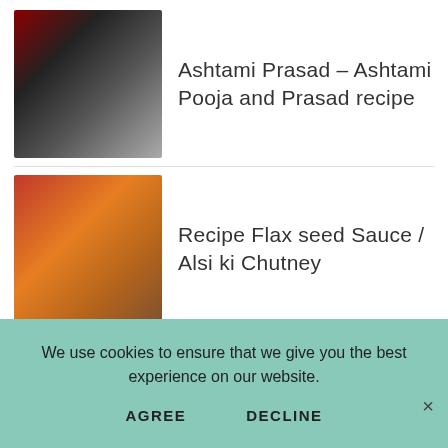Ashtami Prasad – Ashtami Pooja and Prasad recipe
Recipe Flax seed Sauce / Alsi ki Chutney
Kids Tiffin Ideas
Top 11 Ekadashi Fasting Recipes | Vrat Recipes | Fasting Recipes
We use cookies to ensure that we give you the best experience on our website.
AGREE
DECLINE